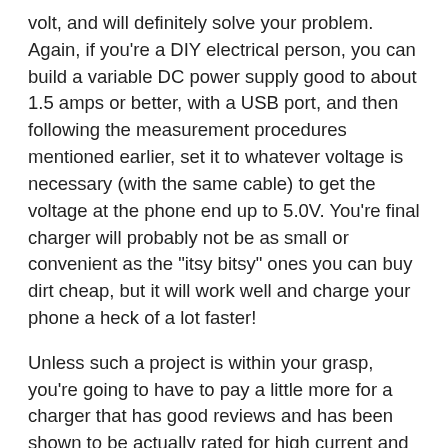volt, and will definitely solve your problem. Again, if you're a DIY electrical person, you can build a variable DC power supply good to about 1.5 amps or better, with a USB port, and then following the measurement procedures mentioned earlier, set it to whatever voltage is necessary (with the same cable) to get the voltage at the phone end up to 5.0V. You're final charger will probably not be as small or convenient as the "itsy bitsy" ones you can buy dirt cheap, but it will work well and charge your phone a heck of a lot faster!
Unless such a project is within your grasp, you're going to have to pay a little more for a charger that has good reviews and has been shown to be actually rated for high current and fast charging, has specs to prove it, and has specs by a believable source (You know how much outright BS is published by "no-name" companies from 'certain" countries). This and following all reasonable procedures o keep the contacts clean in your i-phone port